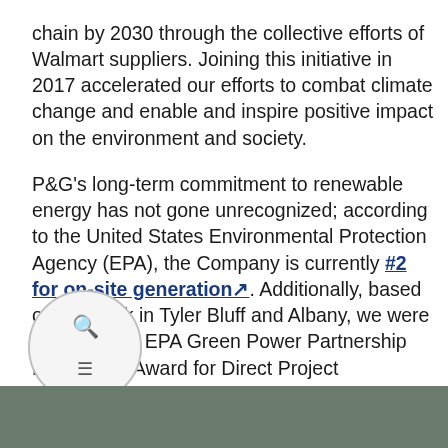chain by 2030 through the collective efforts of Walmart suppliers. Joining this initiative in 2017 accelerated our efforts to combat climate change and enable and inspire positive impact on the environment and society.
P&G's long-term commitment to renewable energy has not gone unrecognized; according to the United States Environmental Protection Agency (EPA), the Company is currently #2 for on-site generation. Additionally, based off our work in Tyler Bluff and Albany, we were awarded the EPA Green Power Partnership Leadership Award for Direct Project Engagement in 2018.
[Figure (photo): Partial photo strip visible at the bottom of the page, appearing to show a natural or outdoor scene.]